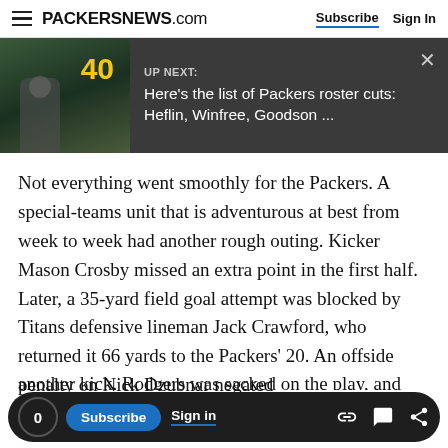PACKERSNEWS.com — Subscribe | Sign In
[Figure (screenshot): UP NEXT banner with thumbnail image showing a player with jersey number 40 on a football field. Text reads: 'UP NEXT: Here's the list of Packers roster cuts: Heflin, Winfree, Goodson ...']
Not everything went smoothly for the Packers. A special-teams unit that is adventurous at best from week to week had another rough outing. Kicker Mason Crosby missed an extra point in the first half. Later, a 35-yard field goal attempt was blocked by Titans defensive lineman Jack Crawford, who returned it 66 yards to the Packers' 20. An offside penalty on Nick Dzubnar negated
0  Subscribe  Sign in  [link icon] [comment icon] [share icon]